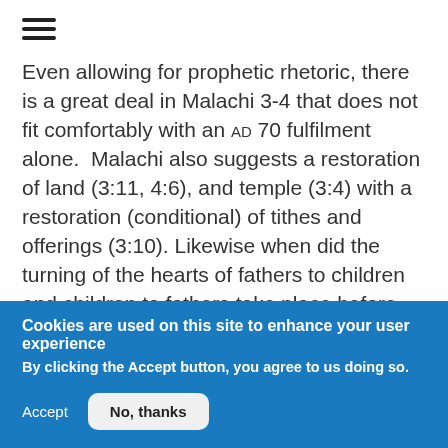≡
Even allowing for prophetic rhetoric, there is a great deal in Malachi 3-4 that does not fit comfortably with an AD 70 fulfilment alone.  Malachi also suggests a restoration of land (3:11, 4:6), and temple (3:4) with a restoration (conditional) of tithes and offerings (3:10). Likewise when did the turning of the hearts of fathers to children and children to fathers take place before AD 70, and what exactly does this mean? I think we have to ask whether Malachi 3-4 can quite so
Cookies are used on this site to enhance your user experience
By clicking the Accept button, you agree to us doing so.
Accept
No, thanks